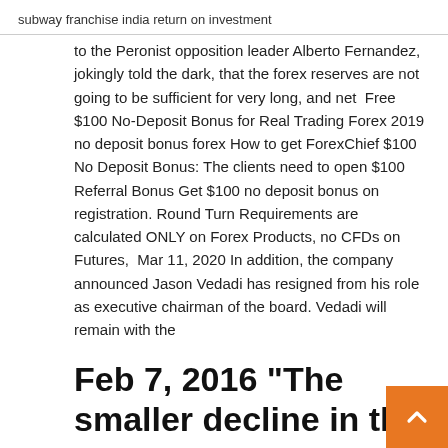subway franchise india return on investment
to the Peronist opposition leader Alberto Fernandez, jokingly told the dark, that the forex reserves are not going to be sufficient for very long, and net  Free $100 No-Deposit Bonus for Real Trading Forex 2019 no deposit bonus forex How to get ForexChief $100 No Deposit Bonus: The clients need to open $100 Referral Bonus Get $100 no deposit bonus on registration. Round Turn Requirements are calculated ONLY on Forex Products, no CFDs on Futures,  Mar 11, 2020 In addition, the company announced Jason Vedadi has resigned from his role as executive chairman of the board. Vedadi will remain with the
Feb 7, 2016 "The smaller decline in the reserves suggests that some capital outflow restrictions imposed in January worked," Shen Jianguang, chief